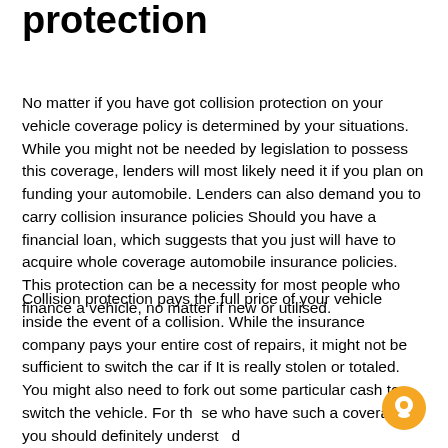protection
No matter if you have got collision protection on your vehicle coverage policy is determined by your situations. While you might not be needed by legislation to possess this coverage, lenders will most likely need it if you plan on funding your automobile. Lenders can also demand you to carry collision insurance policies Should you have a financial loan, which suggests that you just will have to acquire whole coverage automobile insurance policies. This protection can be a necessity for most people who finance a vehicle, no matter if new or utilised.
Collision protection pays the full price of your vehicle inside the event of a collision. While the insurance company pays your entire cost of repairs, it might not be sufficient to switch the car if It is really stolen or totaled. You might also need to fork out some particular cash to switch the vehicle. For those who have such a coverage, you should definitely understand